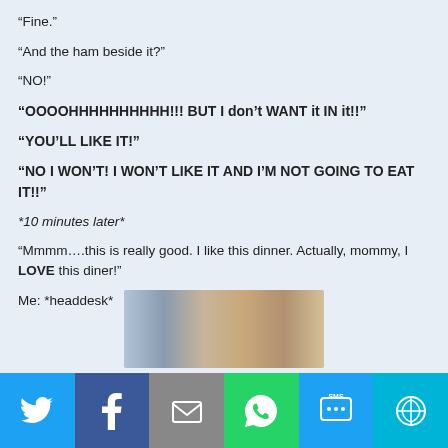“Fine.”
“And the ham beside it?”
“NO!”
“OOOOHHHHHHHHH!!! BUT I don’t WANT it IN it!!”
“YOU’LL LIKE IT!”
“NO I WON’T! I WON’T LIKE IT AND I’M NOT GOING TO EAT IT!!”
*10 minutes later*
“Mmmm….this is really good. I like this dinner. Actually, mommy, I LOVE this diner!”
Me: *headdesk*
[Figure (photo): Photo of a child with head down on a table, appearing to do a headdesk gesture]